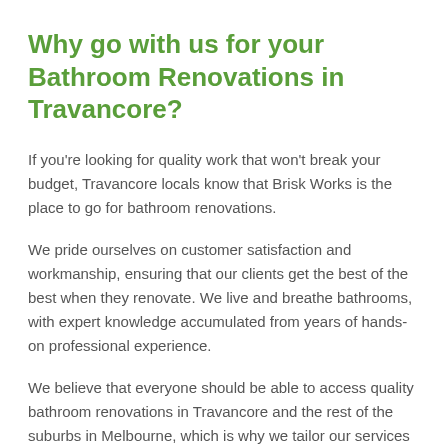Why go with us for your Bathroom Renovations in Travancore?
If you're looking for quality work that won't break your budget, Travancore locals know that Brisk Works is the place to go for bathroom renovations.
We pride ourselves on customer satisfaction and workmanship, ensuring that our clients get the best of the best when they renovate. We live and breathe bathrooms, with expert knowledge accumulated from years of hands-on professional experience.
We believe that everyone should be able to access quality bathroom renovations in Travancore and the rest of the suburbs in Melbourne, which is why we tailor our services to your budget and provide quality options that won't break the bank. Whether you want a simple, stylish